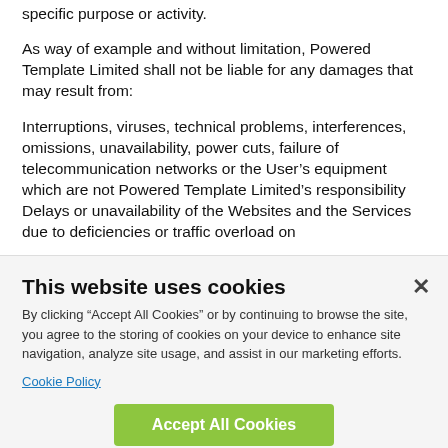specific purpose or activity.
As way of example and without limitation, Powered Template Limited shall not be liable for any damages that may result from:
Interruptions, viruses, technical problems, interferences, omissions, unavailability, power cuts, failure of telecommunication networks or the User’s equipment which are not Powered Template Limited’s responsibility
Delays or unavailability of the Websites and the Services due to deficiencies or traffic overload on
This website uses cookies
By clicking “Accept All Cookies” or by continuing to browse the site, you agree to the storing of cookies on your device to enhance site navigation, analyze site usage, and assist in our marketing efforts.
Cookie Policy
Accept All Cookies